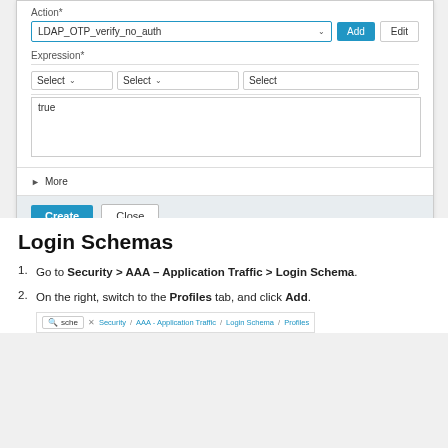[Figure (screenshot): UI form screenshot showing Action field with LDAP_OTP_verify_no_auth dropdown and Add/Edit buttons, Expression field with three Select dropdowns, a text area containing 'true', a More section, and Create/Close buttons at the bottom.]
Login Schemas
Go to Security > AAA – Application Traffic > Login Schema.
On the right, switch to the Profiles tab, and click Add.
[Figure (screenshot): Bottom partial screenshot showing a search box with 'sche' text, an X button, and a breadcrumb: Security / AAA - Application Traffic / Login Schema / Profiles]